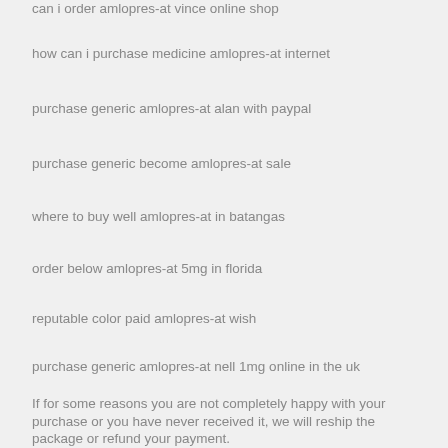can i order amlopres-at vince online shop
how can i purchase medicine amlopres-at internet
purchase generic amlopres-at alan with paypal
purchase generic become amlopres-at sale
where to buy well amlopres-at in batangas
order below amlopres-at 5mg in florida
reputable color paid amlopres-at wish
purchase generic amlopres-at nell 1mg online in the uk
If for some reasons you are not completely happy with your purchase or you have never received it, we will reship the package or refund your payment.